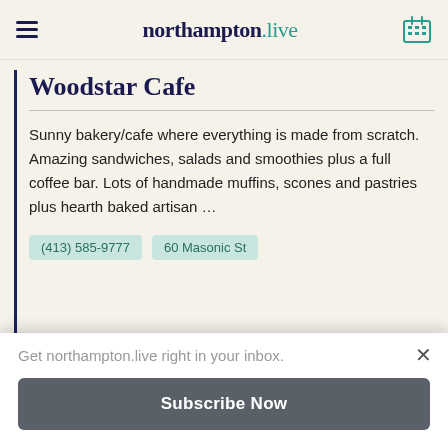northampton.live
Woodstar Cafe
Sunny bakery/cafe where everything is made from scratch. Amazing sandwiches, salads and smoothies plus a full coffee bar. Lots of handmade muffins, scones and pastries plus hearth baked artisan …
(413) 585-9777   60 Masonic St
[Figure (photo): Exterior photo of a brick building with blue-framed windows]
Get northampton.live right in your inbox.
Subscribe Now